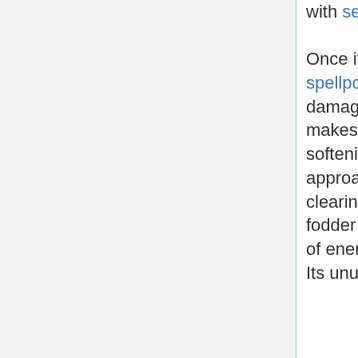with see invisible. Once it hits decent spellpower, its damage output makes it useful for softening up approaching foes or clearing cannon fodder out of a band of enemies. Its unusual shape